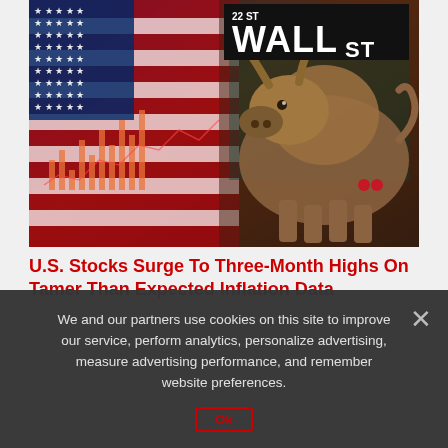[Figure (photo): Wall Street bull statue composite image with American flag and stock market chart overlay, with 'Wall St' street sign in black background at top]
U.S. Stocks Surge To Three-Month Highs On Tamer Than Expected Inflation Data
We and our partners use cookies on this site to improve our service, perform analytics, personalize advertising, measure advertising performance, and remember website preferences.